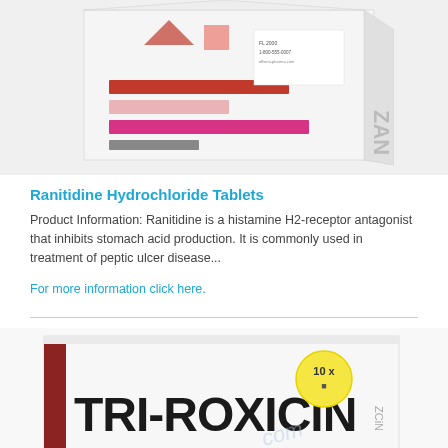[Figure (photo): Partial view of a pharmaceutical product box (Ranitidine Hydrochloride Tablets packaging), showing colorful stripes in red, pink, magenta and grey on a white box labeled ZAN]
Ranitidine Hydrochloride Tablets
Product Information: Ranitidine is a histamine H2-receptor antagonist that inhibits stomach acid production. It is commonly used in treatment of peptic ulcer disease...
For more information click here.
[Figure (photo): Partial view of a TRI-ROXICIN pharmaceutical product box, showing the brand name in large bold black letters, a yellow circle with '10 x' text, and ZCiN branding on white packaging]